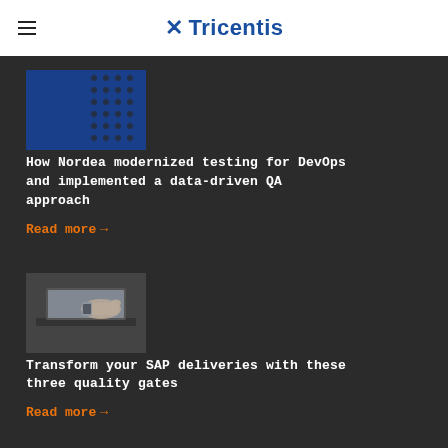Tricentis
[Figure (screenshot): Thumbnail image for Nordea article — blue and dark pattern]
How Nordea modernized testing for DevOps and implemented a data-driven QA approach
Read more →
[Figure (photo): Person pointing at laptop screen with smartwatch on wrist]
Transform your SAP deliveries with these three quality gates
Read more →
SHARE: